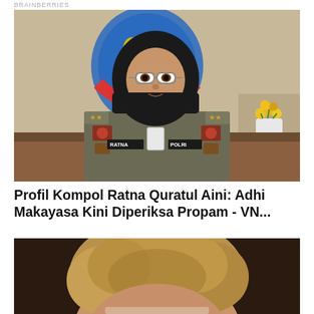BRAINBERRIES
[Figure (photo): A woman in Indonesian police (POLRI) uniform with name tag RATNA, wearing a black hijab and glasses, seated in front of a blue official crest/shield background with a yellow leaf emblem. A vase with yellow flowers is visible on the right side. The uniform has various insignia and badges.]
Profil Kompol Ratna Quratul Aini: Adhi Makayasa Kini Diperiksa Propam - VN...
[Figure (photo): A woman with curly blonde/light brown hair, partially cropped at bottom of page.]